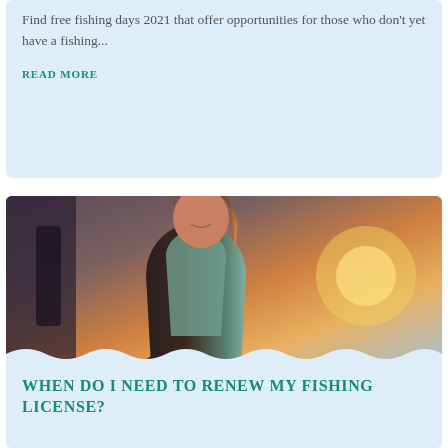Find free fishing days 2021 that offer opportunities for those who don't yet have a fishing...
READ MORE
[Figure (photo): Woman smiling outdoors at sunset, wearing a teal vest, with warm orange and golden light behind her and a cloudy sky]
WHEN DO I NEED TO RENEW MY FISHING LICENSE?